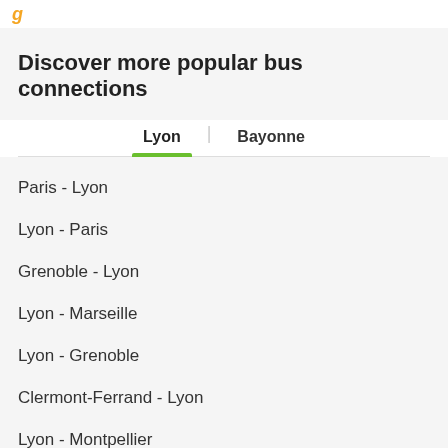Discover more popular bus connections
Lyon | Bayonne
Paris - Lyon
Lyon - Paris
Grenoble - Lyon
Lyon - Marseille
Lyon - Grenoble
Clermont-Ferrand - Lyon
Lyon - Montpellier
Lyon - Clermont-Ferrand
Lyon - Annecy